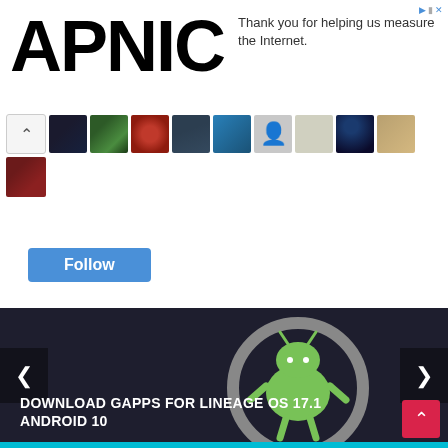[Figure (screenshot): APNIC advertisement banner with logo and text 'Thank you for helping us measure the Internet.']
[Figure (photo): Grid of follower avatar thumbnails showing various profile photos]
Follow
[Figure (screenshot): Dark themed website section with Android/LineageOS logo, navigation arrows, and headline 'DOWNLOAD GAPPS FOR LINEAGE OS 17.1 ANDROID 10'. Red scroll-to-top button visible. Teal bar at bottom.]